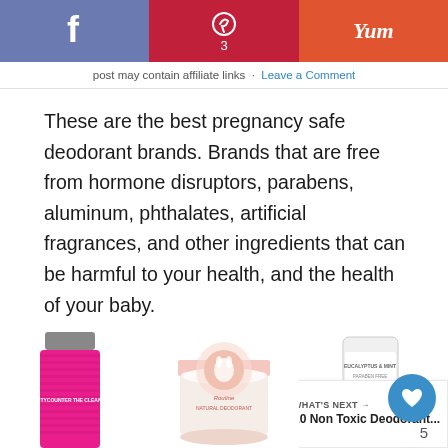f  |  p 3  |  Yum
post may contain affiliate links · Leave a Comment
These are the best pregnancy safe deodorant brands. Brands that are free from hormone disruptors, parabens, aluminum, phthalates, artificial fragrances, and other ingredients that can be harmful to your health, and the health of your baby.
[Figure (photo): Three deodorant product photos side by side: a pink Beautycounter The Clean Deo stick, a Routine natural deodorant jar (open, showing cream inside), and a white natural deodorant stick with 'Eucalyptus & Mint, Paraben Free, Aluminum Free' text. A 'What's Next' overlay shows '10 Non Toxic Deodorant...' with a thumbnail.]